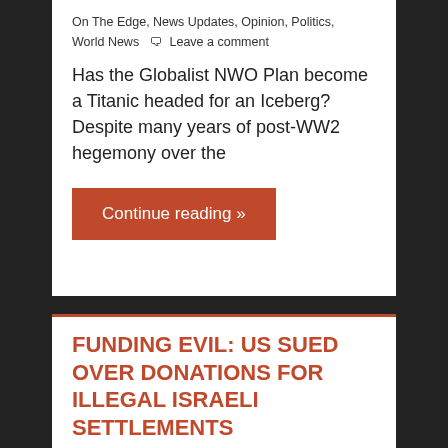On The Edge, News Updates, Opinion, Politics, World News  🗨 Leave a comment
Has the Globalist NWO Plan become a Titanic headed for an Iceberg? Despite many years of post-WW2 hegemony over the
Continue reading »
FUNDING EVIL: US SUED OVER DONATIONS FOR ILLEGAL ISRAELI SETTLEMENTS
January 1, 2016  admin3  Big Brother News, Crime & Coverups, Latest News, news, News On The Edge, News Updates, Opinion, Politics